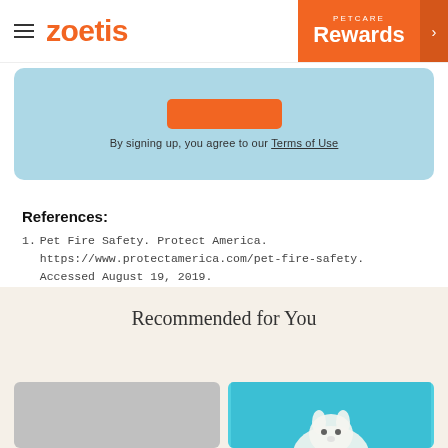zoetis | PETCARE Rewards
[Figure (screenshot): Sign-up banner with orange button and text: By signing up, you agree to our Terms of Use]
References:
1. Pet Fire Safety. Protect America. https://www.protectamerica.com/pet-fire-safety. Accessed August 19, 2019.
ZPC-00428R1
Recommended for You
[Figure (photo): Two recommended article cards: one gray placeholder and one teal with a dog photo]